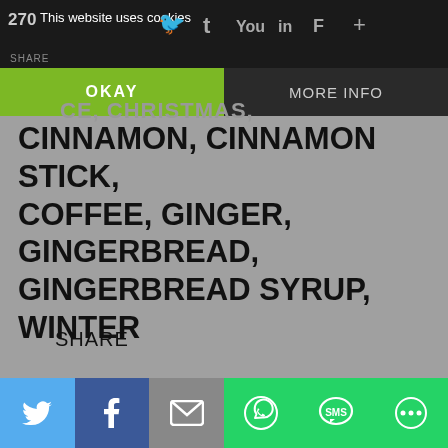270 | This website uses cookies | SHARE
OKAY | MORE INFO
CE, CHRISTMAS,
CINNAMON, CINNAMON STICK, COFFEE, GINGER, GINGERBREAD, GINGERBREAD SYRUP, WINTER
SHARE
Comments
Unknown
Twitter | Facebook | Email | WhatsApp | SMS | Other